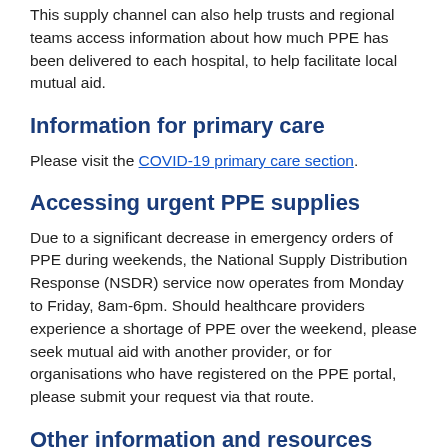This supply channel can also help trusts and regional teams access information about how much PPE has been delivered to each hospital, to help facilitate local mutual aid.
Information for primary care
Please visit the COVID-19 primary care section.
Accessing urgent PPE supplies
Due to a significant decrease in emergency orders of PPE during weekends, the National Supply Distribution Response (NSDR) service now operates from Monday to Friday, 8am-6pm. Should healthcare providers experience a shortage of PPE over the weekend, please seek mutual aid with another provider, or for organisations who have registered on the PPE portal, please submit your request via that route.
Other information and resources